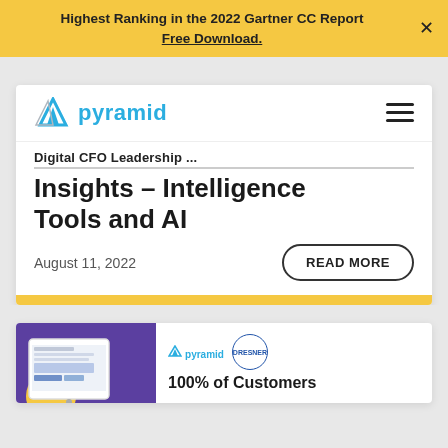Highest Ranking in the 2022 Gartner CC Report
Free Download.
[Figure (logo): Pyramid Analytics logo with blue triangular icon and 'pyramid' text in blue]
Digital CFO Leadership Insights – Intelligence Tools and AI
August 11, 2022
READ MORE
[Figure (screenshot): Bottom card showing tablet mockup on purple background with yellow circle, Pyramid and Dresner logos, and '100% of Customers' headline text]